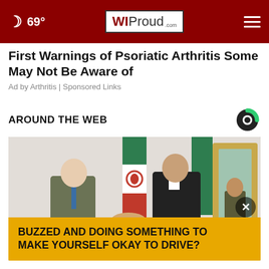69° WIProud.com
First Warnings of Psoriatic Arthritis Some May Not Be Aware of
Ad by Arthritis | Sponsored Links
AROUND THE WEB
[Figure (photo): Two men in formal attire shaking hands in front of an Iranian flag in a formal room with ornate gold mirror]
BUZZED AND DOING SOMETHING TO MAKE YOURSELF OKAY TO DRIVE?